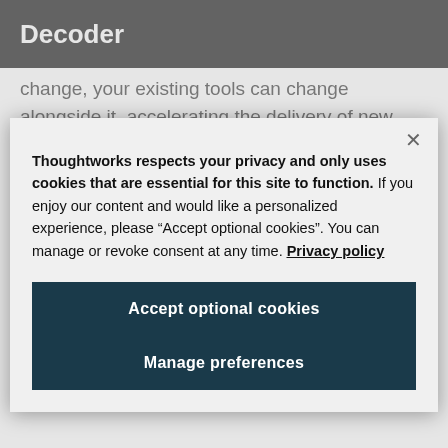Decoder
change, your existing tools can change alongside it, accelerating the delivery of new services, and significantly reducing development and deployment
Thoughtworks respects your privacy and only uses cookies that are essential for this site to function. If you enjoy our content and would like a personalized experience, please “Accept optional cookies”. You can manage or revoke consent at any time. Privacy policy
Accept optional cookies
Manage preferences